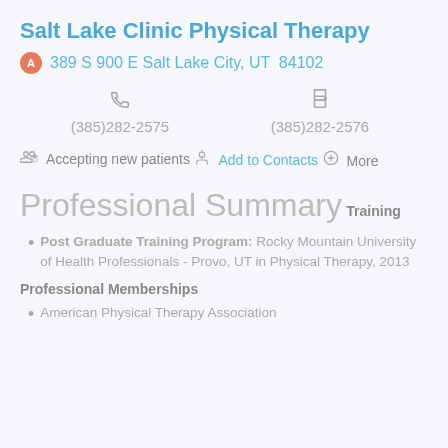Salt Lake Clinic Physical Therapy
389 S 900 E Salt Lake City, UT  84102
(385)282-2575
(385)282-2576
Accepting new patients
Add to Contacts
More
Professional Summary
Training
Post Graduate Training Program: Rocky Mountain University of Health Professionals - Provo, UT in Physical Therapy, 2013
Professional Memberships
American Physical Therapy Association